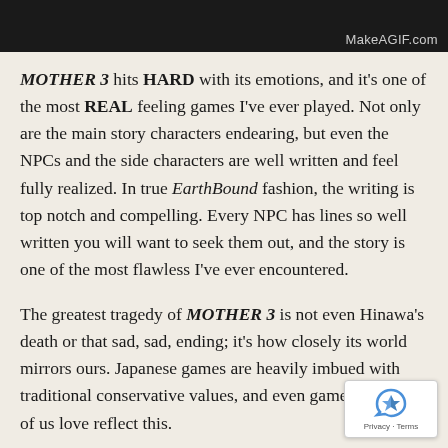MakeAGIF.com
MOTHER 3 hits HARD with its emotions, and it's one of the most REAL feeling games I've ever played. Not only are the main story characters endearing, but even the NPCs and the side characters are well written and feel fully realized. In true EarthBound fashion, the writing is top notch and compelling. Every NPC has lines so well written you will want to seek them out, and the story is one of the most flawless I've ever encountered.
The greatest tragedy of MOTHER 3 is not even Hinawa's death or that sad, sad, ending; it's how closely its world mirrors ours. Japanese games are heavily imbued with traditional conservative values, and even games that most of us love reflect this.
[Figure (other): reCAPTCHA logo with Privacy and Terms links]